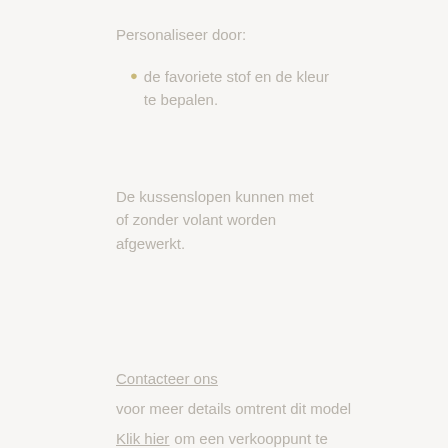Personaliseer door:
de favoriete stof en de kleur te bepalen.
De kussenslopen kunnen met of zonder volant worden afgewerkt.
Contacteer ons
voor meer details omtrent dit model
Klik hier om een verkooppunt te